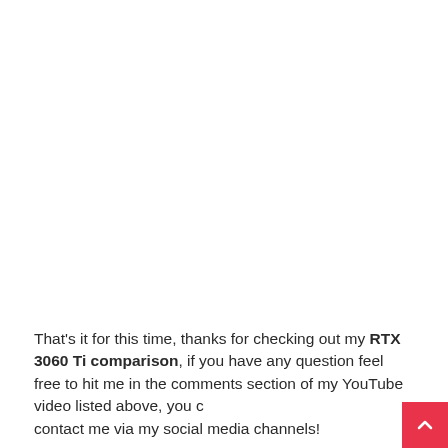That's it for this time, thanks for checking out my RTX 3060 Ti comparison, if you have any question feel free to hit me in the comments section of my YouTube video listed above, you c contact me via my social media channels!